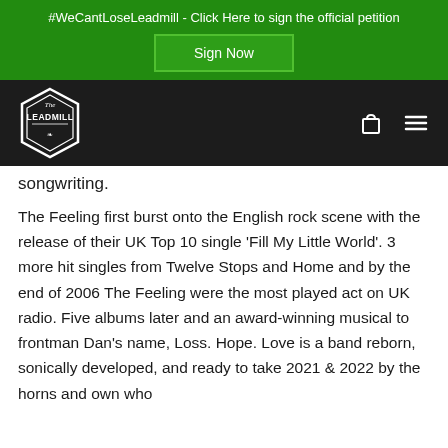#WeCantLoseLeadmill - Click Here to sign the official petition
Sign Now
[Figure (logo): The Leadmill hexagonal logo in white outline on black background, with navigation icons (bag and hamburger menu)]
songwriting.
The Feeling first burst onto the English rock scene with the release of their UK Top 10 single ‘Fill My Little World’. 3 more hit singles from Twelve Stops and Home and by the end of 2006 The Feeling were the most played act on UK radio. Five albums later and an award-winning musical to frontman Dan’s name, Loss. Hope. Love is a band reborn, sonically developed, and ready to take 2021 & 2022 by the horns and own who